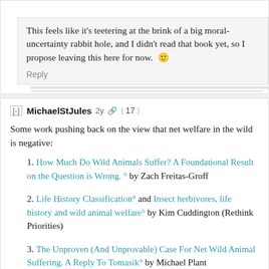This feels like it's teetering at the brink of a big moral-uncertainty rabbit hole, and I didn't read that book yet, so I propose leaving this here for now. 🙂
Reply
[-] MichaelStJules  2y  < 17 >
Some work pushing back on the view that net welfare in the wild is negative:
1. How Much Do Wild Animals Suffer? A Foundational Result on the Question is Wrong.° by Zach Freitas-Groff
2. Life History Classification° and Insect herbivores, life history and wild animal welfare° by Kim Cuddington (Rethink Priorities)
3. The Unproven (And Unprovable) Case For Net Wild Animal Suffering. A Reply To Tomasik° by Michael Plant